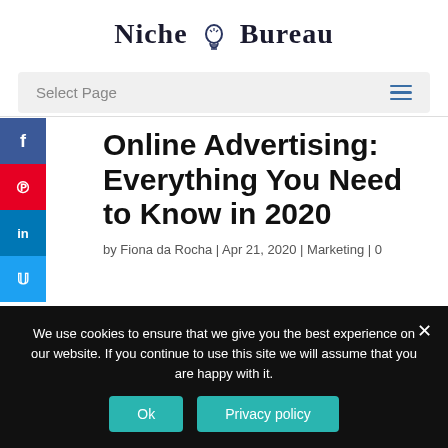Niche Bureau
Select Page
Online Advertising: Everything You Need to Know in 2020
by Fiona da Rocha | Apr 21, 2020 | Marketing | 0
We use cookies to ensure that we give you the best experience on our website. If you continue to use this site we will assume that you are happy with it.